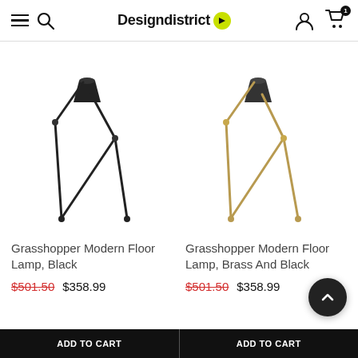Designdistrict
[Figure (photo): Grasshopper Modern Floor Lamp in Black finish — tripod floor lamp with black conical shade]
Grasshopper Modern Floor Lamp, Black
$501.50  $358.99
[Figure (photo): Grasshopper Modern Floor Lamp in Brass and Black finish — tripod floor lamp with black conical shade on brass frame]
Grasshopper Modern Floor Lamp, Brass And Black
$501.50  $358.99